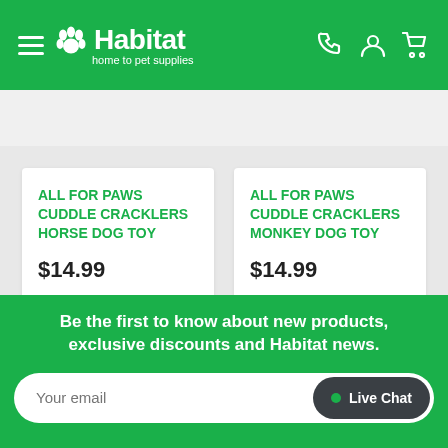Habitat — home to pet supplies
Search over 7000 items
ALL FOR PAWS CUDDLE CRACKLERS HORSE DOG TOY
$14.99
ALL FOR PAWS CUDDLE CRACKLERS MONKEY DOG TOY
$14.99
Be the first to know about new products, exclusive discounts and Habitat news.
Your email
Live Chat